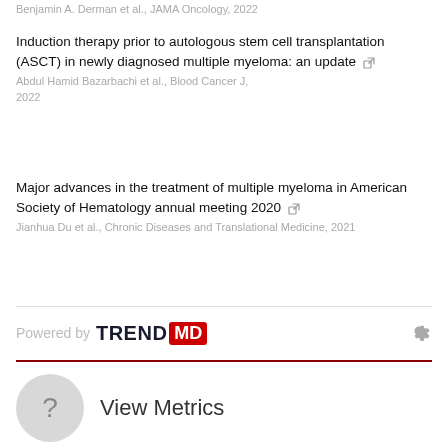Benjamin A. Derman et al., JAMA Oncology, 2022
Induction therapy prior to autologous stem cell transplantation (ASCT) in newly diagnosed multiple myeloma: an update
Abdul Hamid Bazarbachi et al., Blood Cancer J, 2022
Major advances in the treatment of multiple myeloma in American Society of Hematology annual meeting 2020
Jianhua Du et al., Chronic Diseases and Translational Medicine, 2021
Powered by TREND MD
View Metrics